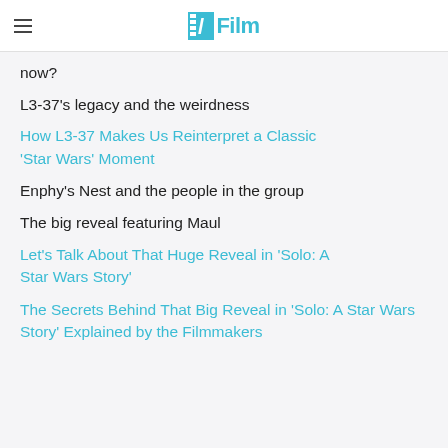/Film
now?
L3-37's legacy and the weirdness
How L3-37 Makes Us Reinterpret a Classic 'Star Wars' Moment
Enphy's Nest and the people in the group
The big reveal featuring Maul
Let's Talk About That Huge Reveal in 'Solo: A Star Wars Story'
The Secrets Behind That Big Reveal in 'Solo: A Star Wars Story' Explained by the Filmmakers